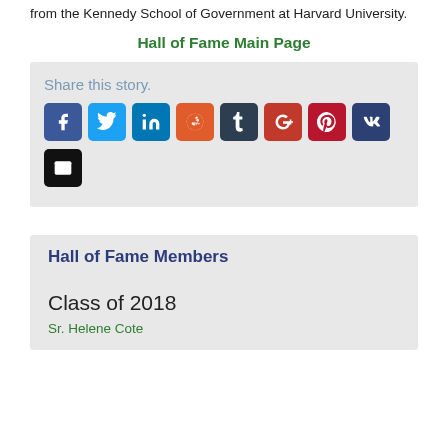from the Kennedy School of Government at Harvard University.
Hall of Fame Main Page
Share this story.
[Figure (infographic): Social media share buttons: Facebook, Twitter, LinkedIn, Reddit, Tumblr, Google+, Pinterest, VK, Email]
Hall of Fame Members
Class of 2018
Sr. Helene Cote